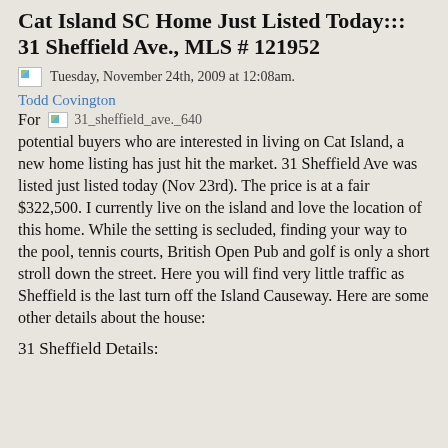Cat Island SC Home Just Listed Today::: 31 Sheffield Ave., MLS # 121952
Tuesday, November 24th, 2009 at 12:08am.
Todd Covington
For   31_sheffield_ave._640
potential buyers who are interested in living on Cat Island, a new home listing has just hit the market.  31 Sheffield Ave was listed just listed today (Nov 23rd).  The price is at a fair $322,500.  I currently live on the island and love the location of this home.  While the setting is secluded, finding your way to the pool, tennis courts, British Open Pub and golf is only a short stroll down the street.  Here you will find very little traffic as Sheffield is the last turn off the Island Causeway.  Here are some other details about the house:
31 Sheffield Details: